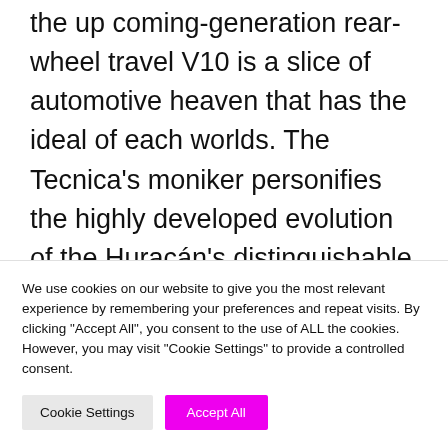the up coming-generation rear-wheel travel V10 is a slice of automotive heaven that has the ideal of each worlds. The Tecnica's moniker personifies the highly developed evolution of the Huracán's distinguishable specialized prowess — its innovation is seen both equally internally and externally. The new appears to be like amplify aerodynamics for heightened efficiency, security and relieve of use, especially on a circuit.
We use cookies on our website to give you the most relevant experience by remembering your preferences and repeat visits. By clicking "Accept All", you consent to the use of ALL the cookies. However, you may visit "Cookie Settings" to provide a controlled consent.